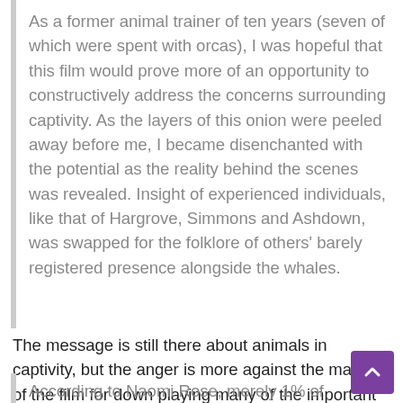As a former animal trainer of ten years (seven of which were spent with orcas), I was hopeful that this film would prove more of an opportunity to constructively address the concerns surrounding captivity. As the layers of this onion were peeled away before me, I became disenchanted with the potential as the reality behind the scenes was revealed. Insight of experienced individuals, like that of Hargrove, Simmons and Ashdown, was swapped for the folklore of others' barely registered presence alongside the whales.
The message is still there about animals in captivity, but the anger is more against the makers of the film for down playing many of the important things that SeaWorld does in favor of making a propaganda piece.
According to Naomi Rose, merely 1% of